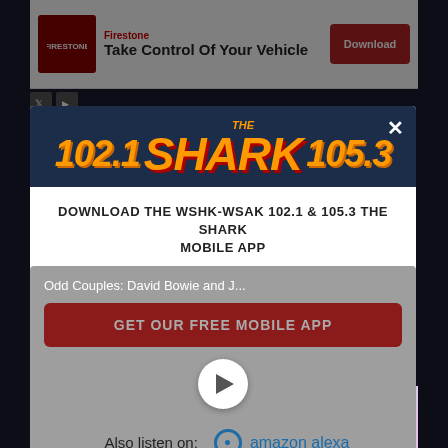[Figure (screenshot): Top advertisement banner: Firestone 'Take Control Of Your Vehicle' with Download button]
[Figure (logo): The Shark 102.1 & 105.3 radio station logo on dark blue modal header]
DOWNLOAD THE WSHK-WSAK 102.1 & 105.3 THE SHARK MOBILE APP
Odd Couples: David Bowie and J...
GET OUR FREE MOBILE APP
Also listen on: amazon alexa
[Figure (screenshot): Bottom BitLife advertisement banner: 'When real life is quarantined' with BitLife branding]